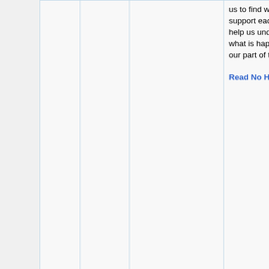|  | Date | Time | Event | Description |
| --- | --- | --- | --- | --- |
|  |  |  |  | us to find ways to support each other, and help us understand what is happening in our part of the world. Read No Here |
|  | April 21 | 9am EDT / 1pm UTC | Glitter Meetup: Makhno, an experimental content takedown | Glitter Meetup is the weekly town hall of the International Freedom of Expression communities happening... |